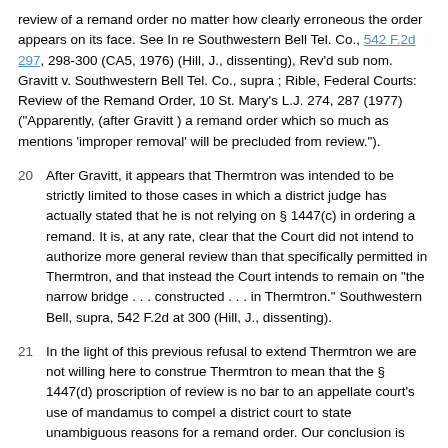review of a remand order no matter how clearly erroneous the order appears on its face. See In re Southwestern Bell Tel. Co., 542 F.2d 297, 298-300 (CA5, 1976) (Hill, J., dissenting), Rev'd sub nom. Gravitt v. Southwestern Bell Tel. Co., supra ; Rible, Federal Courts: Review of the Remand Order, 10 St. Mary's L.J. 274, 287 (1977) ("Apparently, (after Gravitt ) a remand order which so much as mentions 'improper removal' will be precluded from review.").
20  After Gravitt, it appears that Thermtron was intended to be strictly limited to those cases in which a district judge has actually stated that he is not relying on § 1447(c) in ordering a remand. It is, at any rate, clear that the Court did not intend to authorize more general review than that specifically permitted in Thermtron, and that instead the Court intends to remain on "the narrow bridge . . . constructed . . . in Thermtron." Southwestern Bell, supra, 542 F.2d at 300 (Hill, J., dissenting).
21  In the light of this previous refusal to extend Thermtron we are not willing here to construe Thermtron to mean that the § 1447(d) proscription of review is no bar to an appellate court's use of mandamus to compel a district court to state unambiguous reasons for a remand order. Our conclusion is buttressed by a further